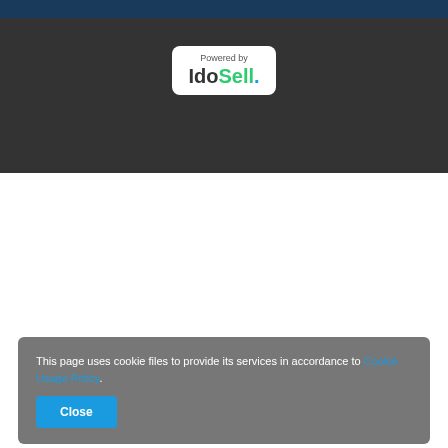[Figure (logo): Powered by IdoSell. logo in white rounded rectangle on dark background]
This page uses cookie files to provide its services in accordance to Cookie Usage Policy.